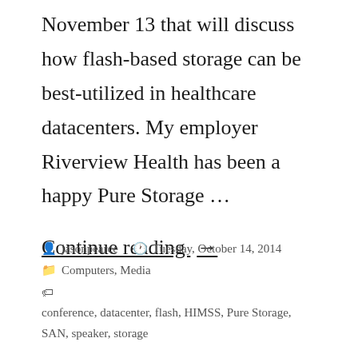November 13 that will discuss how flash-based storage can be best-utilized in healthcare datacenters. My employer Riverview Health has been a happy Pure Storage …
Continue reading →
posted by jasonpearce  Tuesday, October 14, 2014  Computers, Media  conference, datacenter, flash, HIMSS, Pure Storage, SAN, speaker, storage